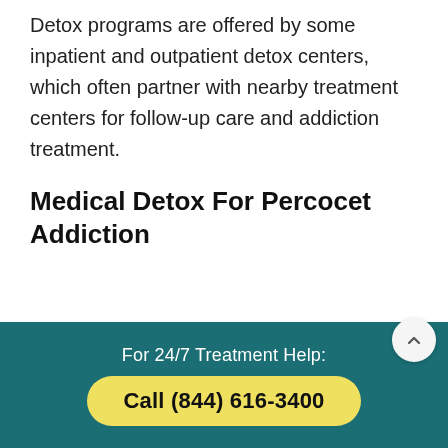Detox programs are offered by some inpatient and outpatient detox centers, which often partner with nearby treatment centers for follow-up care and addiction treatment.
Medical Detox For Percocet Addiction
Medical detox is a type of inpatient detox program. This offers 24-hour access to treatment and support
For 24/7 Treatment Help:
Call (844) 616-3400